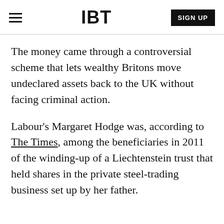IBT | SIGN UP
The money came through a controversial scheme that lets wealthy Britons move undeclared assets back to the UK without facing criminal action.
Labour's Margaret Hodge was, according to The Times, among the beneficiaries in 2011 of the winding-up of a Liechtenstein trust that held shares in the private steel-trading business set up by her father.